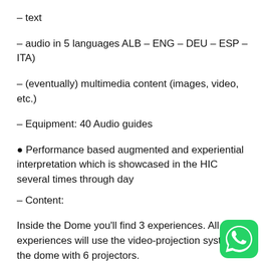– text
– audio in 5 languages ALB – ENG – DEU – ESP – ITA)
– (eventually) multimedia content (images, video, etc.)
– Equipment: 40 Audio guides
● Performance based augmented and experiential interpretation which is showcased in the HIC several times through day
– Content:
Inside the Dome you'll find 3 experiences. All the experiences will use the video-projection system on the dome with 6 projectors.
interactive speaking: people talk in front of one side of